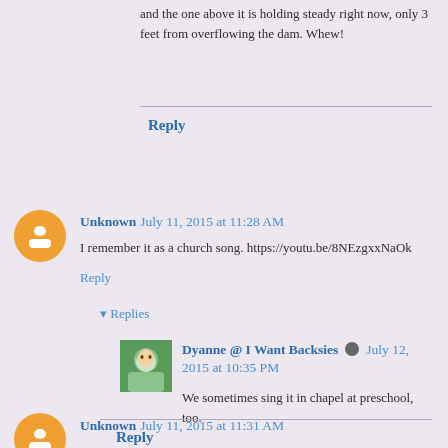and the one above it is holding steady right now, only 3 feet from overflowing the dam. Whew!
Reply
Unknown July 11, 2015 at 11:28 AM
I remember it as a church song. https://youtu.be/8NEzgxxNaOk
Reply
▾ Replies
Dyanne @ I Want Backsies  July 12, 2015 at 10:35 PM
We sometimes sing it in chapel at preschool, too.
Reply
Unknown July 11, 2015 at 11:31 AM